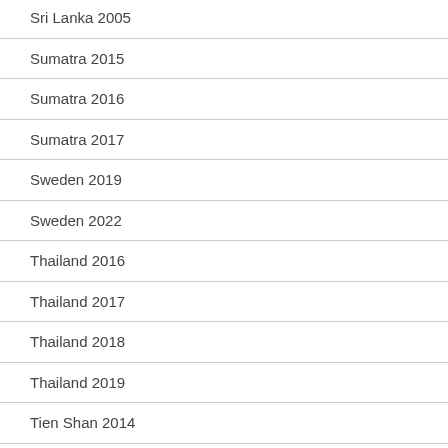Sri Lanka 2005
Sumatra 2015
Sumatra 2016
Sumatra 2017
Sweden 2019
Sweden 2022
Thailand 2016
Thailand 2017
Thailand 2018
Thailand 2019
Tien Shan 2014